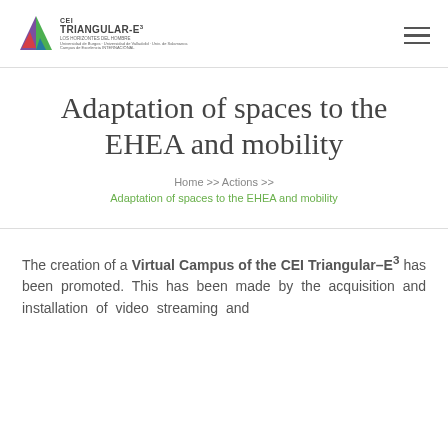[Figure (logo): CEI Triangular-E3 logo with triangle graphic and text]
Adaptation of spaces to the EHEA and mobility
Home >> Actions >> Adaptation of spaces to the EHEA and mobility
The creation of a Virtual Campus of the CEI Triangular-E3 has been promoted. This has been made by the acquisition and installation of video streaming and